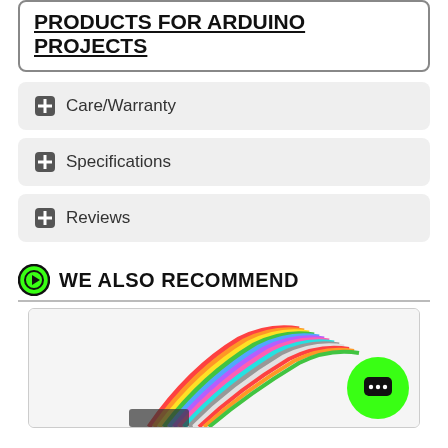PRODUCTS FOR ARDUINO PROJECTS
Care/Warranty
Specifications
Reviews
WE ALSO RECOMMEND
[Figure (photo): Product photo showing colorful wires bundle for Arduino projects, with a green chat bubble button overlay in the bottom right corner.]